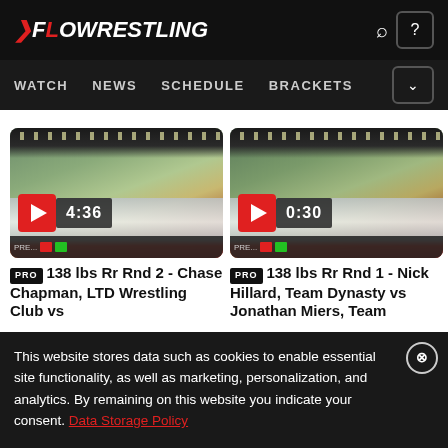FLOWRESTLING — WATCH NEWS SCHEDULE BRACKETS
[Figure (screenshot): Video thumbnail of wrestling match in large arena, duration 4:36]
PRO 138 lbs Rr Rnd 2 - Chase Chapman, LTD Wrestling Club vs
[Figure (screenshot): Video thumbnail of wrestling match in large arena, duration 0:30]
PRO 138 lbs Rr Rnd 1 - Nick Hillard, Team Dynasty vs Jonathan Miers, Team
This website stores data such as cookies to enable essential site functionality, as well as marketing, personalization, and analytics. By remaining on this website you indicate your consent. Data Storage Policy